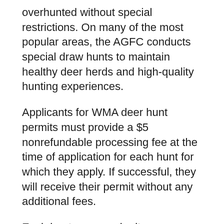overhunted without special restrictions. On many of the most popular areas, the AGFC conducts special draw hunts to maintain healthy deer herds and high-quality hunting experiences.
Applicants for WMA deer hunt permits must provide a $5 nonrefundable processing fee at the time of application for each hunt for which they apply. If successful, they will receive their permit without any additional fees.
Each hunter may submit one application for each type of permit hunt: youth hunt, archery, muzzleloader and modern gun. Hunters must be at least 6 years old to apply for any WMA permit hunts.
Hunters applying for youth hunts must be at least 6, but no older than 15, the day the hunt begins. To apply, they must have a Customer ID in the AGFC's licensing system. They or their legal guardian must create a new profile with their correct age before the system will show